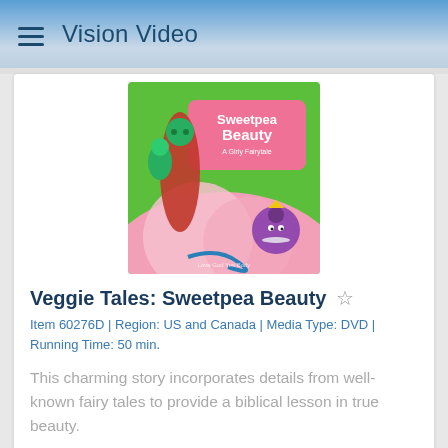Vision Video
[Figure (photo): DVD cover of VeggieTales: Sweetpea Beauty showing cartoon vegetable characters on a colorful background with pink and green tones]
Veggie Tales: Sweetpea Beauty
Item 60276D | Region: US and Canada | Media Type: DVD | Running Time: 50 min.
This charming story incorporates details from well-known fairy tales to provide a biblical lesson in true beauty.
$5.00  $14.99  ADD TO CART
[Figure (photo): Partial view of a second DVD product card at the bottom of the page]